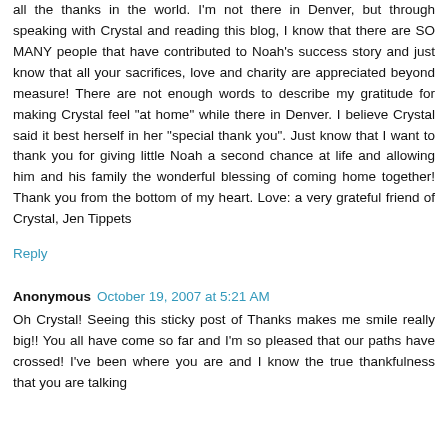all the thanks in the world. I'm not there in Denver, but through speaking with Crystal and reading this blog, I know that there are SO MANY people that have contributed to Noah's success story and just know that all your sacrifices, love and charity are appreciated beyond measure! There are not enough words to describe my gratitude for making Crystal feel "at home" while there in Denver. I believe Crystal said it best herself in her "special thank you". Just know that I want to thank you for giving little Noah a second chance at life and allowing him and his family the wonderful blessing of coming home together! Thank you from the bottom of my heart. Love: a very grateful friend of Crystal, Jen Tippets
Reply
Anonymous  October 19, 2007 at 5:21 AM
Oh Crystal! Seeing this sticky post of Thanks makes me smile really big!! You all have come so far and I'm so pleased that our paths have crossed! I've been where you are and I know the true thankfulness that you are talking